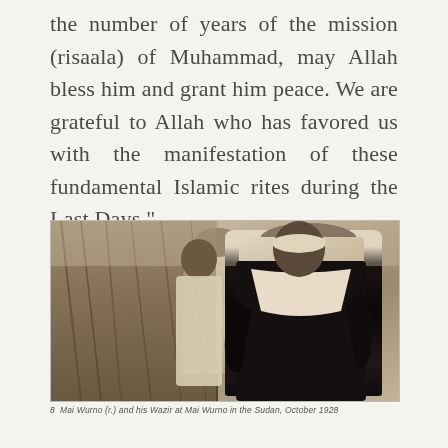the number of years of the mission (risaala) of Muhammad, may Allah bless him and grant him peace. We are grateful to Allah who has favored us with the manifestation of these fundamental Islamic rites during the Last Days."
[Figure (photo): Black and white photograph of two men. One man stands in the foreground wearing dark robes with a white collar/shawl. Another figure in lighter clothing stands behind. Background shows a thatched structure.]
8  Mai Wurno (r.) and his Wazir at Mai Wurno in the Sudan, October 1928